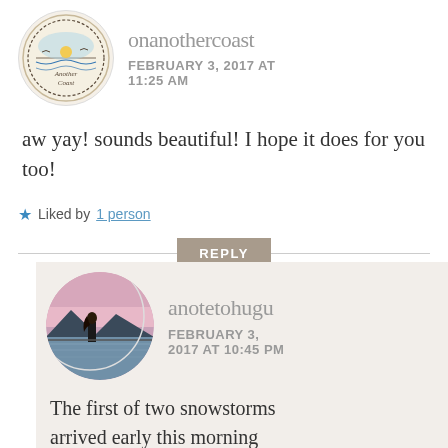[Figure (photo): Circular avatar logo with 'Another Coast' text and illustrated coastal scene]
onanothercoast
FEBRUARY 3, 2017 AT 11:25 AM
aw yay! sounds beautiful! I hope it does for you too!
Liked by 1 person
REPLY
[Figure (photo): Circular avatar photo of a person standing at a waterfront at dusk/sunset with mountains in background]
anotetohugu
FEBRUARY 3, 2017 AT 10:45 PM
The first of two snowstorms arrived early this morning